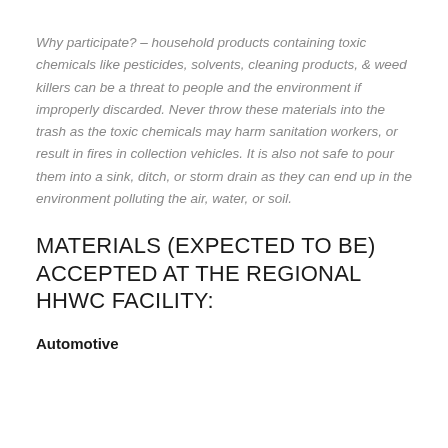Why participate? – household products containing toxic chemicals like pesticides, solvents, cleaning products, & weed killers can be a threat to people and the environment if improperly discarded. Never throw these materials into the trash as the toxic chemicals may harm sanitation workers, or result in fires in collection vehicles. It is also not safe to pour them into a sink, ditch, or storm drain as they can end up in the environment polluting the air, water, or soil.
MATERIALS (EXPECTED TO BE) ACCEPTED AT THE REGIONAL HHWC FACILITY:
Automotive